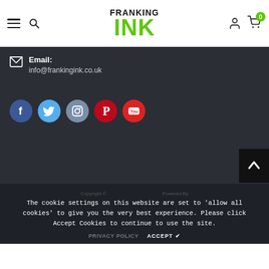FRANKING INK
Email: info@frankingink.co.uk
[Figure (other): Social media icons row: Facebook, Twitter, Instagram, Pinterest, YouTube]
The cookie settings on this website are set to 'allow all cookies' to give you the very best experience. Please click Accept Cookies to continue to use the site.
PRIVACY POLICY   ACCEPT ✔
Copyright ©   Powered By